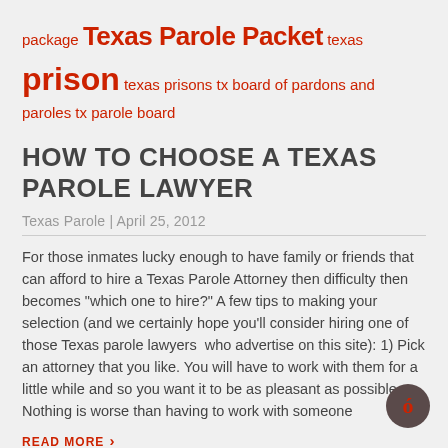package Texas Parole Packet texas prison texas prisons tx board of pardons and paroles tx parole board
HOW TO CHOOSE A TEXAS PAROLE LAWYER
Texas Parole | April 25, 2012
For those inmates lucky enough to have family or friends that can afford to hire a Texas Parole Attorney then difficulty then becomes "which one to hire?" A few tips to making your selection (and we certainly hope you'll consider hiring one of those Texas parole lawyers  who advertise on this site): 1) Pick an attorney that you like. You will have to work with them for a little while and so you want it to be as pleasant as possible. Nothing is worse than having to work with someone
READ MORE >